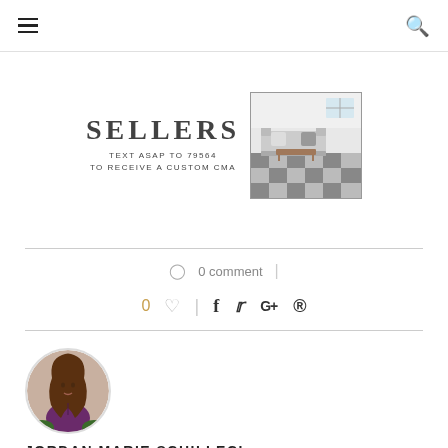≡  🔍
[Figure (advertisement): Real estate sellers advertisement with text 'SELLERS TEXT ASAP TO 79564 TO RECEIVE A CUSTOM CMA' and interior room photo]
0 comment
0 ♡  f  𝕥  G+  ⊕
[Figure (photo): Circular profile photo of Jordan Marie Schilleci, a woman with long brown hair wearing a purple sleeveless top]
JORDAN MARIE SCHILLECI, REALTOR®, JO & CO